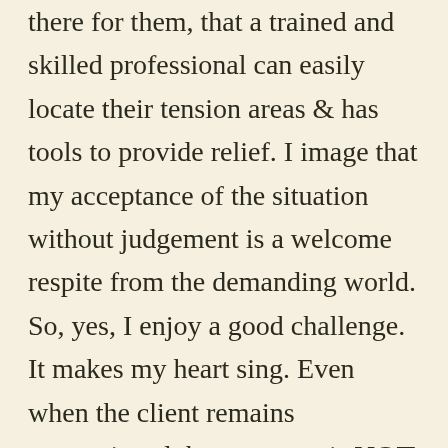there for them, that a trained and skilled professional can easily locate their tension areas & has tools to provide relief. I image that my acceptance of the situation without judgement is a welcome respite from the demanding world. So, yes, I enjoy a good challenge. It makes my heart sing. Even when the client remains unconvinced that massage is NOT for them, I know that they have still benefited from the experience of healing touch.

This particular gentleman? Ten minutes